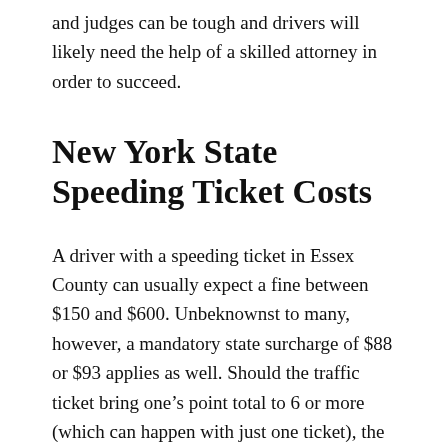and judges can be tough and drivers will likely need the help of a skilled attorney in order to succeed.
New York State Speeding Ticket Costs
A driver with a speeding ticket in Essex County can usually expect a fine between $150 and $600. Unbeknownst to many, however, a mandatory state surcharge of $88 or $93 applies as well. Should the traffic ticket bring one's point total to 6 or more (which can happen with just one ticket), the DMV charges an additional fee called a Driver Responsibility